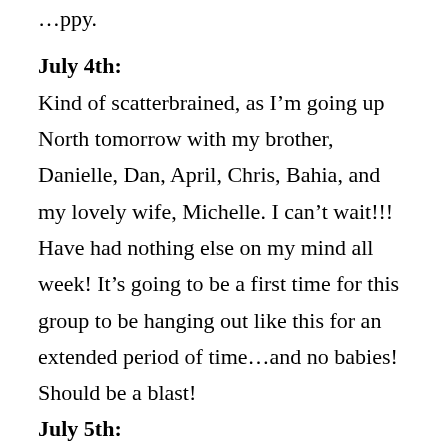…ppy.
July 4th:
Kind of scatterbrained, as I'm going up North tomorrow with my brother, Danielle, Dan, April, Chris, Bahia, and my lovely wife, Michelle. I can't wait!!! Have had nothing else on my mind all week! It's going to be a first time for this group to be hanging out like this for an extended period of time…and no babies! Should be a blast!
July 5th: